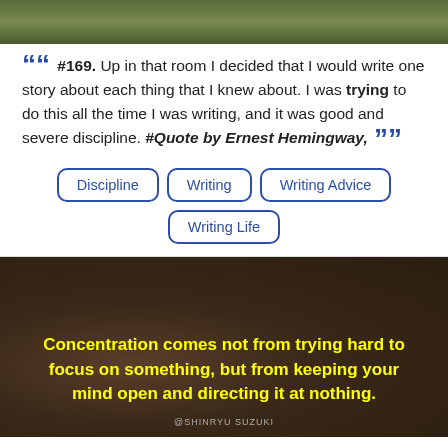[Figure (photo): Top strip showing green grass/nature background]
““ #169. Up in that room I decided that I would write one story about each thing that I knew about. I was trying to do this all the time I was writing, and it was good and severe discipline. #Quote by Ernest Hemingway, ””
Discipline
Writing
Writing Advice
Writing Life
[Figure (photo): Dark brown stone/concrete background with a yellow bold quote: 'Concentration comes not from trying hard to focus on something, but from keeping your mind open and directing it at nothing.' Attribution: @SHINRYU SUZUKI]